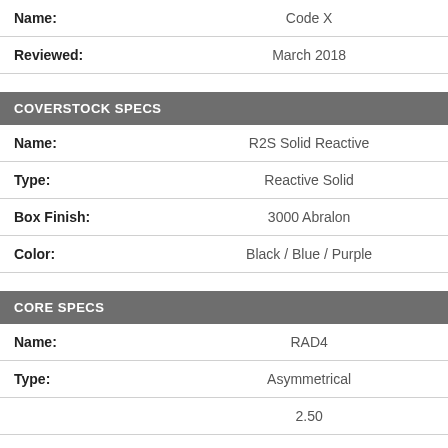| Name: | Code X |
| Reviewed: | March 2018 |
COVERSTOCK SPECS
| Name: | R2S Solid Reactive |
| Type: | Reactive Solid |
| Box Finish: | 3000 Abralon |
| Color: | Black / Blue / Purple |
CORE SPECS
| Name: | RAD4 |
| Type: | Asymmetrical |
|  | 2.50 |